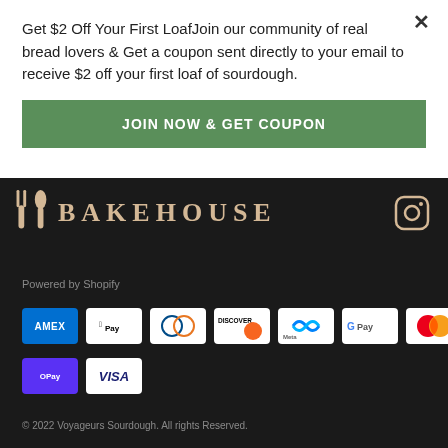Get $2 Off Your First LoafJoin our community of real bread lovers & Get a coupon sent directly to your email to receive $2 off your first loaf of sourdough.
JOIN NOW & GET COUPON
[Figure (logo): Voyageurs Sourdough Bakehouse logo with wheat icon and BAKEHOUSE text on dark background, with Instagram icon]
Powered by Shopify
[Figure (other): Payment method icons: American Express, Apple Pay, Diners Club, Discover, Meta Pay, Google Pay, Mastercard, Shop Pay, Visa]
© 2022 Voyageurs Sourdough. All rights Reserved.